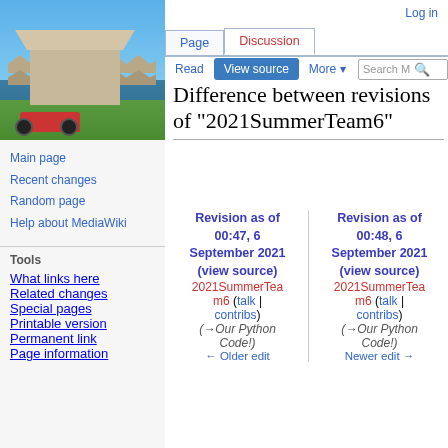[Figure (photo): UCSD Geisel Library building with a blue sky background and an RC car in the foreground on grass]
Log in
Page | Discussion | Read | View source | More
Difference between revisions of "2021SummerTeam6"
Main page
Recent changes
Random page
Help about MediaWiki
Tools
What links here
Related changes
Special pages
Printable version
Permanent link
Page information
Revision as of 00:47, 6 September 2021 (view source) 2021SummerTeam6 (talk | contribs) (→Our Python Code!) ← Older edit
Revision as of 00:48, 6 September 2021 (view source) 2021SummerTeam6 (talk | contribs) (→Our Python Code!) Newer edit →